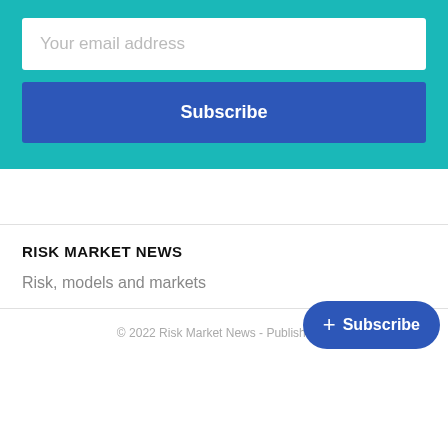Your email address
Subscribe
RISK MARKET NEWS
Risk, models and markets
© 2022 Risk Market News - Published w…
+ Subscribe